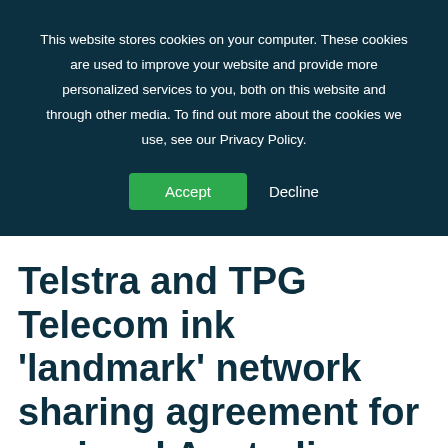This website stores cookies on your computer. These cookies are used to improve your website and provide more personalized services to you, both on this website and through other media. To find out more about the cookies we use, see our Privacy Policy.
Accept
Decline
Telstra and TPG Telecom ink 'landmark' network sharing agreement for regional Australia